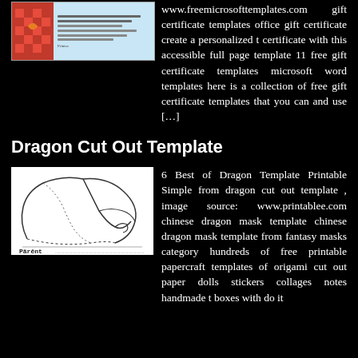[Figure (screenshot): Gift certificate template image thumbnail with colorful pattern on left and text lines on right, on a blue background]
www.freemicrosofttemplates.com gift certificate templates office gift certificate create a personalized t certificate with this accessible full page template 11 free gift certificate templates microsoft word templates here is a collection of free gift certificate templates that you can and use […]
Dragon Cut Out Template
[Figure (illustration): Dragon mask/cut out template printable image - a dragon head outline/silhouette on white background with dashed cut lines, with 'Parent' branding at the bottom]
6 Best of Dragon Template Printable Simple from dragon cut out template , image source: www.printablee.com chinese dragon mask template chinese dragon mask template from fantasy masks category hundreds of free printable papercraft templates of origami cut out paper dolls stickers collages notes handmade t boxes with do it